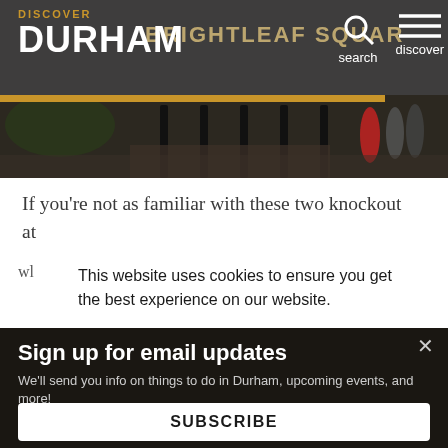[Figure (screenshot): Discover Durham website header showing the Discover Durham logo on the left, 'BRIGHTLEAF SQUAR' text in the background, a search icon and 'search' label, and a hamburger menu with 'discover' label on the right. A gold horizontal bar separates the nav from a street scene photo of Brightleaf Square.]
If you're not as familiar with these two knockout at w[...] This website uses cookies to ensure you get the best experience on our website.
Sign up for email updates
We'll send you info on things to do in Durham, upcoming events, and more!
SUBSCRIBE